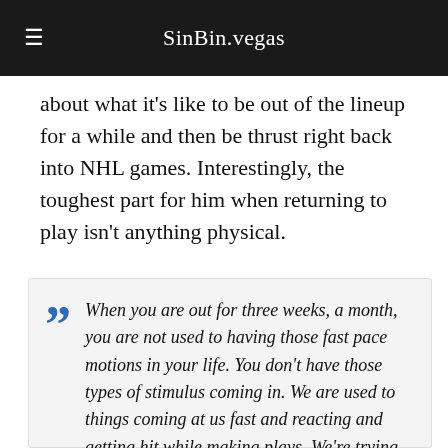SinBin.vegas
about what it’s like to be out of the lineup for a while and then be thrust right back into NHL games. Interestingly, the toughest part for him when returning to play isn’t anything physical.
“When you are out for three weeks, a month, you are not used to having those fast pace motions in your life. You don’t have those types of stimulus coming in. We are used to things coming at us fast and reacting and getting hit while making plays. We’re trying to think about making a play while also thinking about three other things. When you